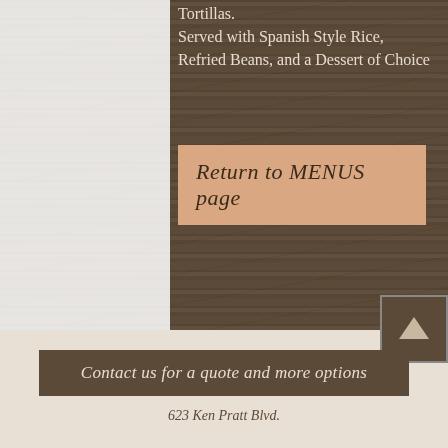Tortillas.
Served with Spanish Style Rice, Refried Beans, and a Dessert of Choice
Return to MENUS page
Contact us for a quote and more options
623 Ken Pratt Blvd.